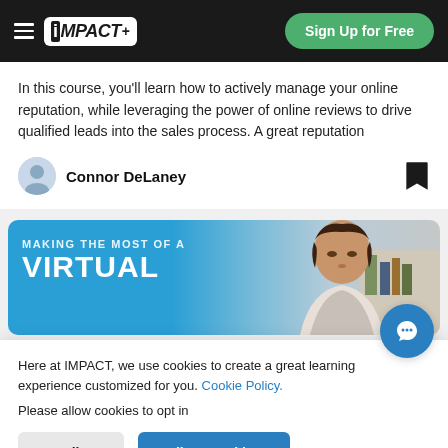iMPACT+ | Sign Up for Free
In this course, you’ll learn how to actively manage your online reputation, while leveraging the power of online reviews to drive qualified leads into the sales process. A great reputation
Connor DeLaney
[Figure (photo): Banner image with text 'MAKING THE MOST OF A VIRTUAL' over a blue gradient background with a person's face on the right.]
Here at IMPACT, we use cookies to create a great learning experience customized for you. Cookie Policy.

Please allow cookies to opt in
Decline
Allow Cookies